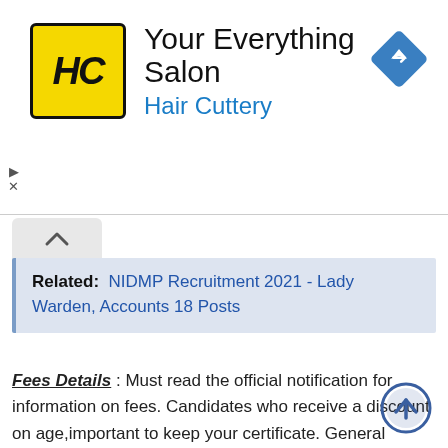[Figure (logo): Hair Cuttery ad banner with HC logo in yellow box, title 'Your Everything Salon', subtitle 'Hair Cuttery' in blue, and a blue navigation diamond icon top right]
Related: NIDMP Recruitment 2021 - Lady Warden, Accounts 18 Posts
Fees Details: Must read the official notification for information on fees. Candidates who receive a discount on age,important to keep your certificate. General candidates to join the Mp Peb exam fees - 400/200 Rs. The fees above General / ST / SC / OBC classes is different. Complete information are given below in related fees.